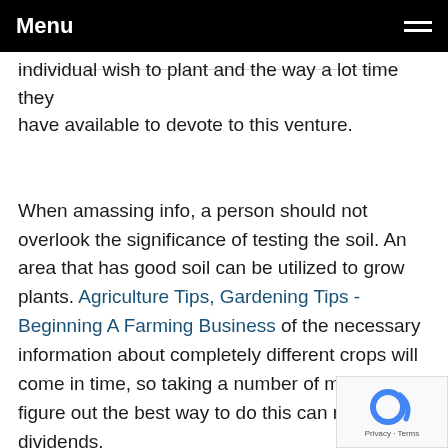Menu
individual wish to plant and the way a lot time they have available to devote to this venture.
When amassing info, a person should not overlook the significance of testing the soil. An area that has good soil can be utilized to grow plants. Agriculture Tips, Gardening Tips - Beginning A Farming Business of the necessary information about completely different crops will come in time, so taking a number of moments to figure out the best way to do this can repay in dividends.